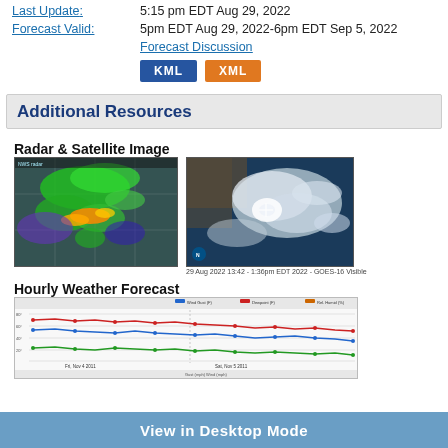Last Update: 5:15 pm EDT Aug 29, 2022
Forecast Valid: 5pm EDT Aug 29, 2022-6pm EDT Sep 5, 2022
Forecast Discussion
KML  XML
Additional Resources
Radar & Satellite Image
[Figure (photo): Radar image showing storm system with green, yellow, orange precipitation patterns]
[Figure (photo): Satellite image showing Atlantic cloud cover and storm system from NOAA, dated Aug 29 2022]
29 Aug 2022 13:42 - 1:36pm EDT 2022 - GOES-16 Visible
Hourly Weather Forecast
[Figure (line-chart): Hourly weather forecast chart showing Wind Gust (F), Dewpoint (F), and Relative Humidity (%) lines over time from Fri Nov 4 2011 to Sat Nov 5 2011]
View in Desktop Mode